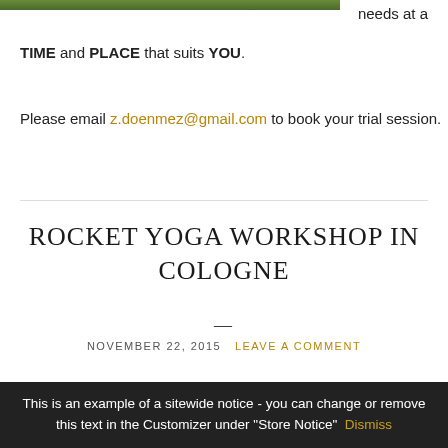[Figure (photo): Green outdoor photo strip at the top left]
needs at a
TIME and PLACE that suits YOU.
Please email z.doenmez@gmail.com to book your trial session.
ROCKET YOGA WORKSHOP IN COLOGNE
NOVEMBER 22, 2015   LEAVE A COMMENT
[Figure (photo): Gold/yellow yoga props or accessories photo]
I am very
This is an example of a sitewide notice - you can change or remove this text in the Customizer under "Store Notice"   Dismiss